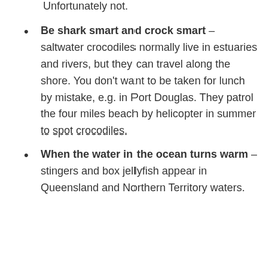Unfortunately not.
Be shark smart and crock smart – saltwater crocodiles normally live in estuaries and rivers, but they can travel along the shore. You don't want to be taken for lunch by mistake, e.g. in Port Douglas. They patrol the four miles beach by helicopter in summer to spot crocodiles.
When the water in the ocean turns warm – stingers and box jellyfish appear in Queensland and Northern Territory waters.